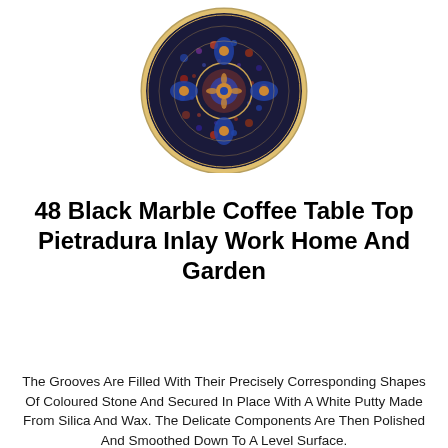[Figure (photo): Circular marble table top with intricate Pietradura inlay artwork featuring dark navy/black background with colourful floral and geometric stone inlay patterns, including a central flower motif surrounded by decorative designs.]
48 Black Marble Coffee Table Top Pietradura Inlay Work Home And Garden
The Grooves Are Filled With Their Precisely Corresponding Shapes Of Coloured Stone And Secured In Place With A White Putty Made From Silica And Wax. The Delicate Components Are Then Polished And Smoothed Down To A Level Surface.